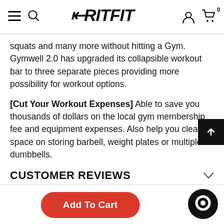FritFit header navigation with hamburger menu, search, logo, user icon, and cart (0)
squats and many more without hitting a Gym. Gymwell 2.0 has upgraded its collapsible workout bar to three separate pieces providing more possibility for workout options.
[Cut Your Workout Expenses] Able to save you thousands of dollars on the local gym membership fee and equipment expenses. Also help you clear up space on storing barbell, weight plates or multiple dumbbells.
CUSTOMER REVIEWS
[Figure (other): Add To Cart red button and chat widget bubble icon at bottom of page]